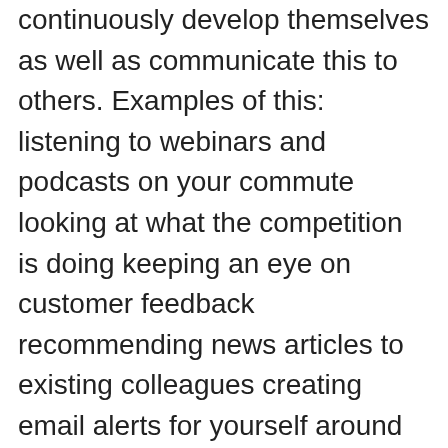continuously develop themselves as well as communicate this to others. Examples of this: listening to webinars and podcasts on your commute looking at what the competition is doing keeping an eye on customer feedback recommending news articles to existing colleagues creating email alerts for yourself around topics of interest Regardless of the industry, a desire to stay on top of current trends and changes relevant to your profession is valued by businesses both large and small. This also shows that you are self-aware. Understanding customers Technology has helped evolve consumer behaviour. Businesses are now steered towards customer experience and behavioural patterns of how users engage with their products and services. This is why organizations now require someone who can keep up with these technological